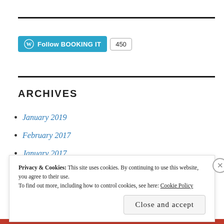[Figure (other): Horizontal rule separator line at top]
[Figure (other): WordPress Follow BOOKING IT button with follower count 450]
[Figure (other): Horizontal rule separator line in middle]
ARCHIVES
January 2019
February 2017
January 2017
Privacy & Cookies: This site uses cookies. By continuing to use this website, you agree to their use.
To find out more, including how to control cookies, see here: Cookie Policy
Close and accept